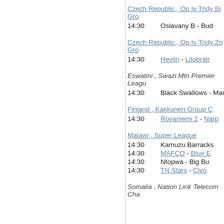Czech Republic , Op Iv Tridy Bi Gro
14:30   Oslavany B - Bud
Czech Republic , Op Iv Tridy Zn Gro
14:30   Hevlin - Litobratr
Eswatini , Swazi Mtn Premier League
14:30   Black Swallows - Manzin
Finland , Kakkonen Group C
14:30   Rovaniemi 2 - Narp
Malawi , Super League
14:30   Kamuzu Barracks
14:30   MAFCO - Blue E
14:30   Ntopwa - Big Bu
14:30   TN Stars - Civo
Somalia , Nation Link Telecom Cha